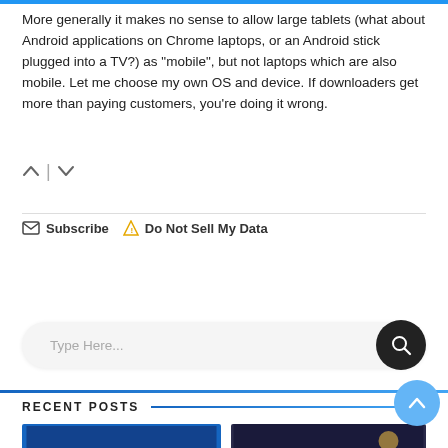More generally it makes no sense to allow large tablets (what about Android applications on Chrome laptops, or an Android stick plugged into a TV?) as "mobile", but not laptops which are also mobile. Let me choose my own OS and device. If downloaders get more than paying customers, you're doing it wrong.
[Figure (other): Vote up/down controls with upward and downward chevron arrows separated by a vertical bar]
Subscribe  Do Not Sell My Data
[Figure (other): Search bar with placeholder text 'Type Here...' and a dark circular search button with magnifier icon]
RECENT POSTS
[Figure (photo): Two thumbnail images side by side at the bottom of the page]